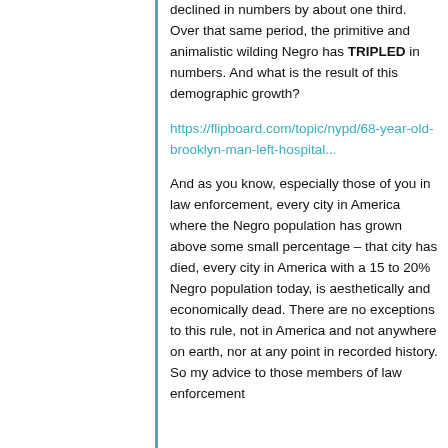declined in numbers by about one third. Over that same period, the primitive and animalistic wilding Negro has TRIPLED in numbers. And what is the result of this demographic growth?
https://flipboard.com/topic/nypd/68-year-old-brooklyn-man-left-hospital...
And as you know, especially those of you in law enforcement, every city in America where the Negro population has grown above some small percentage – that city has died, every city in America with a 15 to 20% Negro population today, is aesthetically and economically dead. There are no exceptions to this rule, not in America and not anywhere on earth, nor at any point in recorded history. So my advice to those members of law enforcement